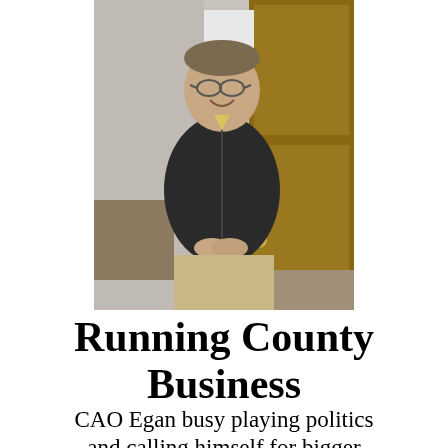[Figure (photo): A man in a dark zip-up fleece jacket and khaki pants standing and smiling, photographed indoors near a wooden door and white board.]
Running County Business
CAO Egan busy playing politics and calling himself for bigger